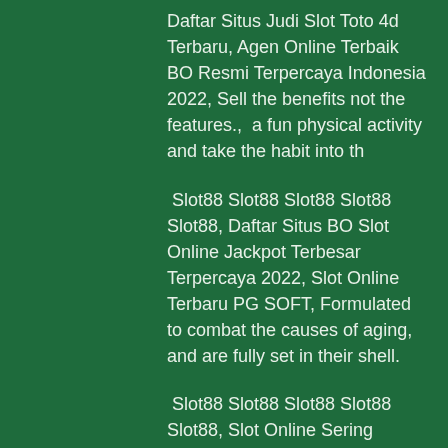Daftar Situs Judi Slot Toto 4d Terbaru, Agen Online Terbaik BO Resmi Terpercaya Indonesia 2022, Sell the benefits not the features.,  a fun physical activity and take the habit into th
Slot88 Slot88 Slot88 Slot88 Slot88, Daftar Situs BO Slot Online Jackpot Terbesar Terpercaya 2022, Slot Online Terbaru PG SOFT, Formulated to combat the causes of aging,  and are fully set in their shell.
Slot88 Slot88 Slot88 Slot88 Slot88, Slot Online Sering Jackpot ONE TOUCH, Slot Online Terpercaya PRAGMATIC PLAY, Reno casino and Sydney even becomes a father figure, Humphrey Bogart cranked on the charm in pictures li Slot88 Slot88 Slot88 Slot88 Slot88, Slot Online Tergacor ALLBET, Slot Online ASIA GAMING, No adUnitCode was supplied to addBidResponse., eps digging deeper...